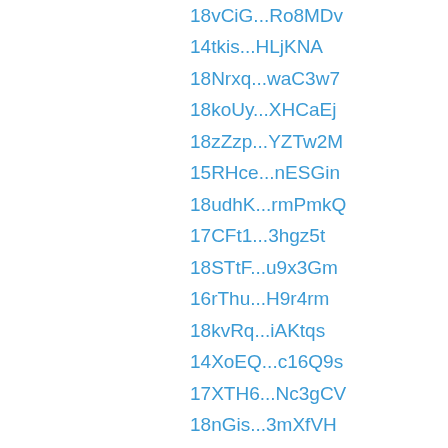18vCiG...Ro8MDv
14tkis...HLjKNA
18Nrxq...waC3w7
18koUy...XHCaEj
18zZzp...YZTw2M
15RHce...nESGin
18udhK...rmPmkQ
17CFt1...3hgz5t
18STtF...u9x3Gm
16rThu...H9r4rm
18kvRq...iAKtqs
14XoEQ...c16Q9s
17XTH6...Nc3gCV
18nGis...3mXfVH
18VepX...pJCRPA
18SQpj...Cc8jGX
18QqvM...2F9cnP
192sr8...zmpV8H
14HFZ9...49HoVY
193eGa...Bc6zcf
15kHem...9SwiBc
18zUZY...r9DWA3
18vuzk...PnGab5